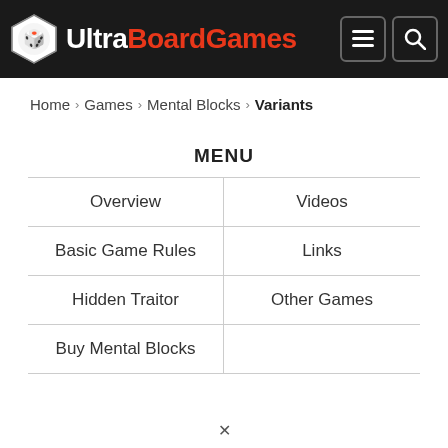UltraBoardGames
Home > Games > Mental Blocks > Variants
MENU
Overview
Videos
Basic Game Rules
Links
Hidden Traitor
Other Games
Buy Mental Blocks